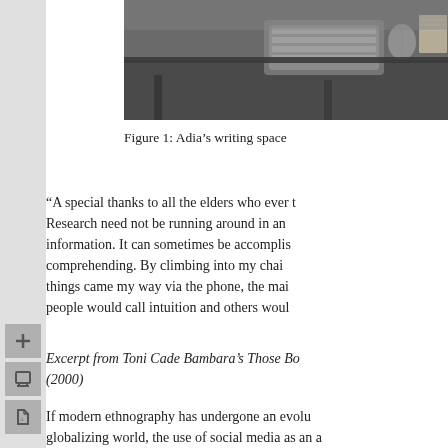[Figure (photo): A dark desk workspace with a keyboard and notebook visible from above]
Figure 1: Adia’s writing space
“A special thanks to all the elders who ever t... Research need not be running around in an... information. It can sometimes be accomplis... comprehending. By climbing into my chai... things came my way via the phone, the mai... people would call intuition and others woul...
Excerpt from Toni Cade Bambara’s Those Bo... (2000)
If modern ethnography has undergone an evolu... globalizing world, the use of social media as an a... would seem to be the zenith of this evolution. In...